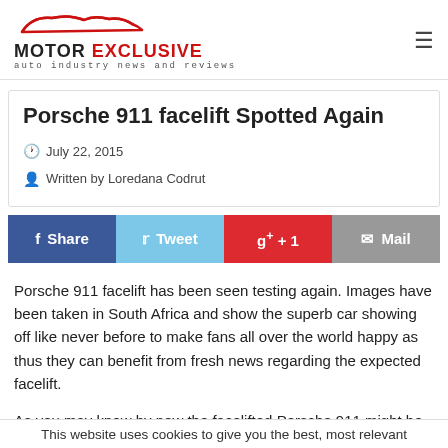MOTOR EXCLUSIVE — auto industry news and reviews
Porsche 911 facelift Spotted Again
July 22, 2015
Written by Loredana Codrut
[Figure (infographic): Social sharing buttons: f Share (Facebook, blue), Tweet (Twitter, light blue), g+ +1 (Google Plus, red), Mail (grey)]
Porsche 911 facelift has been seen testing again. Images have been taken in South Africa and show the superb car showing off like never before to make fans all over the world happy as thus they can benefit from fresh news regarding the expected facelift.
As you may know by now the facelifted Porsche 911 might be presented at the Frankfurt Motor Show. At the moment some
This website uses cookies to give you the best, most relevant